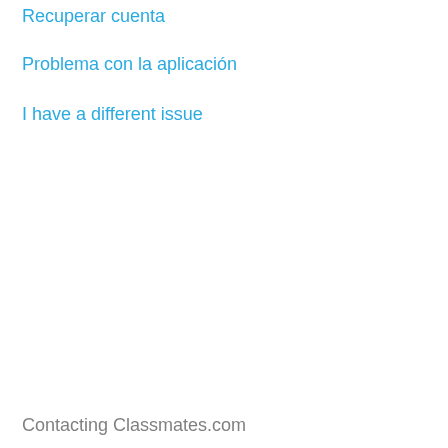Recuperar cuenta
Problema con la aplicación
I have a different issue
Contacting Classmates.com